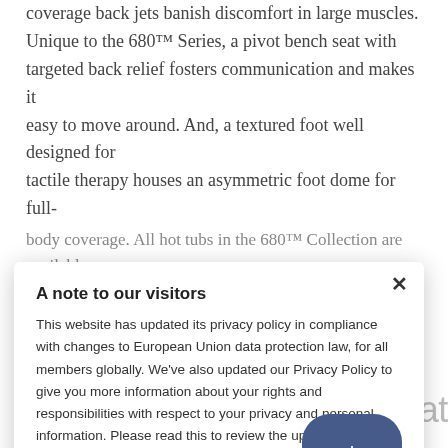coverage back jets banish discomfort in large muscles. Unique to the 680™ Series, a pivot bench seat with targeted back relief fosters communication and makes it easy to move around. And, a textured foot well designed for tactile therapy houses an asymmetric foot dome for full-body coverage. All hot tubs in the 680™ Collection are available with an optional alternative insulation system. The right insulation can help to retain and regulate the temperature within your spa, creating a better quality and more energy-efficient hot tub experience for years to come.
A note to our visitors
This website has updated its privacy policy in compliance with changes to European Union data protection law, for all members globally. We've also updated our Privacy Policy to give you more information about your rights and responsibilities with respect to your privacy and personal information. Please read this to review the updates about which cookies we use and what information we collect on our site. By continuing to use this site, you are agreeing to our updated privacy policy.
Prado™ Hot Tub Specifications